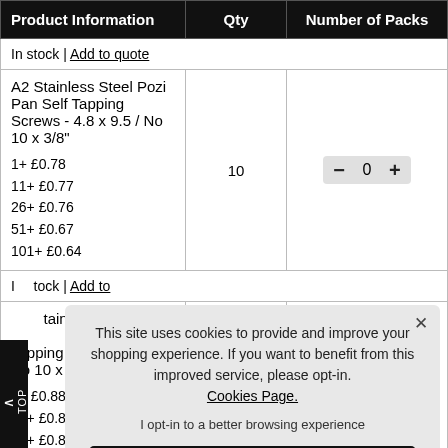| Product Information | Qty | Number of Packs |
| --- | --- | --- |
| In stock | Add to quote |  |  |
| A2 Stainless Steel Pozi Pan Self Tapping Screws - 4.8 x 9.5 / No 10 x 3/8"
1+ £0.78
11+ £0.77
26+ £0.76
51+ £0.67
101+ £0.64 | 10 | — 0 + |
| In stock | Add to ... |  |  |
| ...Stainless Steel... Tapping Scre... No 10 x 1/2"
1+ £0.88
11+ £0.83
26+ £0.80
51+ £0.77 |  |  |
This site uses cookies to provide and improve your shopping experience. If you want to benefit from this improved service, please opt-in. Cookies Page.
I opt-in to a better browsing experience
ACCEPT COOKIES